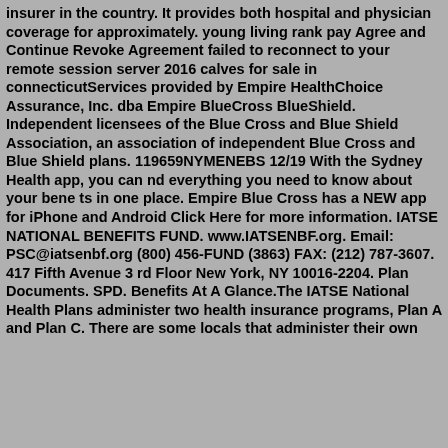insurer in the country. It provides both hospital and physician coverage for approximately. young living rank pay Agree and Continue Revoke Agreement failed to reconnect to your remote session server 2016 calves for sale in connecticutServices provided by Empire HealthChoice Assurance, Inc. dba Empire BlueCross BlueShield. Independent licensees of the Blue Cross and Blue Shield Association, an association of independent Blue Cross and Blue Shield plans. 119659NYMENEBS 12/19 With the Sydney Health app, you can nd everything you need to know about your bene ts in one place. Empire Blue Cross has a NEW app for iPhone and Android Click Here for more information. IATSE NATIONAL BENEFITS FUND. www.IATSENBF.org. Email: PSC@iatsenbf.org (800) 456-FUND (3863) FAX: (212) 787-3607. 417 Fifth Avenue 3 rd Floor New York, NY 10016-2204. Plan Documents. SPD. Benefits At A Glance.The IATSE National Health Plans administer two health insurance programs, Plan A and Plan C. There are some locals that administer their own